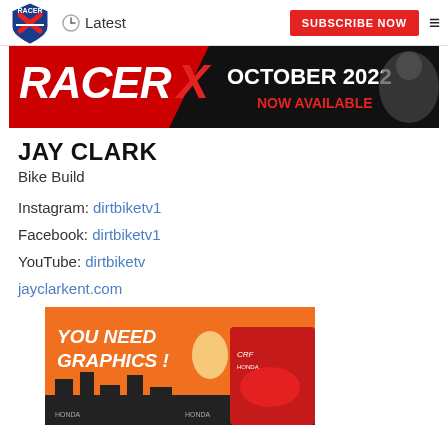Racer X — Latest | SUBSCRIBE NOW
[Figure (photo): Racer X October 2022 Now Available banner with motocross rider]
JAY CLARK
Bike Build
Instagram: dirtbiketv1
Facebook: dirtbiketv1
YouTube: dirtbiketv
jayclarkent.com
[Figure (photo): Advertisement showing Honda CRF dirt bike graphic kit with text YOU NEED GRAPHICS!]